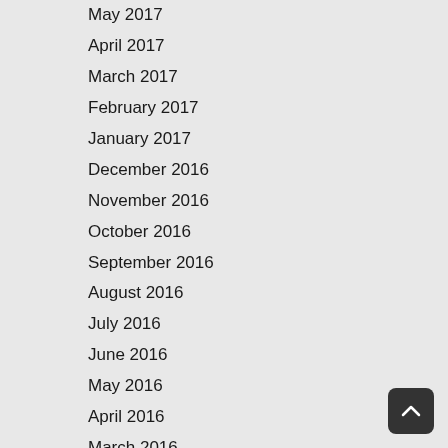May 2017
April 2017
March 2017
February 2017
January 2017
December 2016
November 2016
October 2016
September 2016
August 2016
July 2016
June 2016
May 2016
April 2016
March 2016
February 2016
January 2016